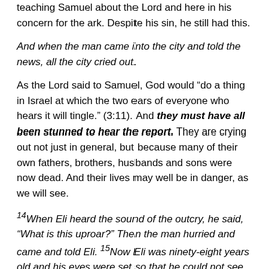teaching Samuel about the Lord and here in his concern for the ark. Despite his sin, he still had this.
And when the man came into the city and told the news, all the city cried out.
As the Lord said to Samuel, God would “do a thing in Israel at which the two ears of everyone who hears it will tingle.” (3:11). And they must have all been stunned to hear the report. They are crying out not just in general, but because many of their own fathers, brothers, husbands and sons were now dead. And their lives may well be in danger, as we will see.
14When Eli heard the sound of the outcry, he said, “What is this uproar?” Then the man hurried and came and told Eli. 15Now Eli was ninety-eight years old and his eyes were set so that he could not see.